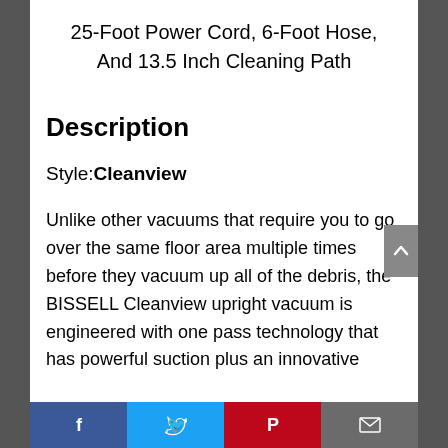25-Foot Power Cord, 6-Foot Hose, And 13.5 Inch Cleaning Path
Description
Style:Cleanview
Unlike other vacuums that require you to go over the same floor area multiple times before they vacuum up all of the debris, the BISSELL Cleanview upright vacuum is engineered with one pass technology that has powerful suction plus an innovative
Facebook Twitter Pinterest Email